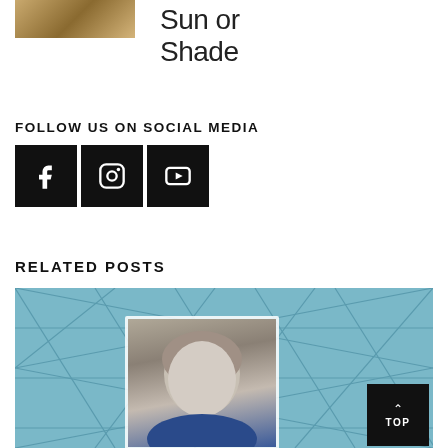[Figure (photo): Small thumbnail image with golden/earth tones texture, top left]
Sun or Shade
FOLLOW US ON SOCIAL MEDIA
[Figure (other): Three black square social media icon buttons: Facebook, Instagram, YouTube]
RELATED POSTS
[Figure (photo): Related posts image showing geometric glass ceiling/dome structure in blue tones with a portrait of a woman with gray hair overlaid in white-bordered frame, and a black TOP button in lower right corner]